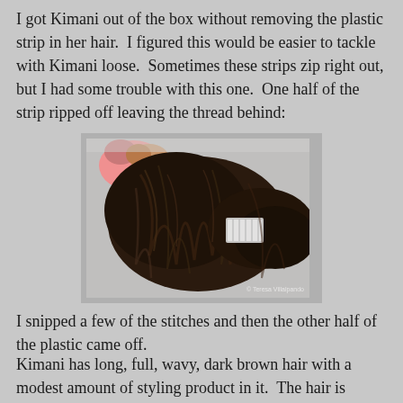I got Kimani out of the box without removing the plastic strip in her hair.  I figured this would be easier to tackle with Kimani loose.  Sometimes these strips zip right out, but I had some trouble with this one.  One half of the strip ripped off leaving the thread behind:
[Figure (photo): Close-up photo of a doll's dark brown wavy hair pulled back with a plastic strip/clip still partially attached, showing the hair and a pink outfit visible in the background.]
I snipped a few of the stitches and then the other half of the plastic came off.
Kimani has long, full, wavy, dark brown hair with a modest amount of styling product in it.  The hair is pulled back from Kimani's face with a small ponytail off to the left side: